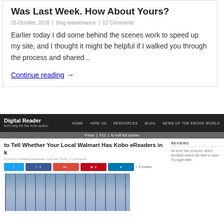Was Last Week. How About Yours?
26 October, 2018 | blog maintenance | 12 Comments
Earlier today I did some behind the scenes work to speed up my site, and I thought it might be helpful if I walked you through the process and shared...
Continue reading →
[Figure (screenshot): Screenshot of the Digital Reader website showing a navigation bar with links HOME, HIRE US, RESOURCES, BLOG, NEWS OF THE EBOOK WORLD, with a fullscreen prompt overlay bar reading 'Press F11 to exit full screen', and an article titled 'to Tell Whether Your Local Walmart Has Kobo eReaders in k' with article metadata, social share buttons for Twitter, Facebook, Google+, Pinterest, LinkedIn showing share count of 3, a photo of a store shelf with electronics/eReaders, and a sidebar section titled REVIEWS showing an error message: 'An error has occurred, which probably means the feed is down. Try again later.']